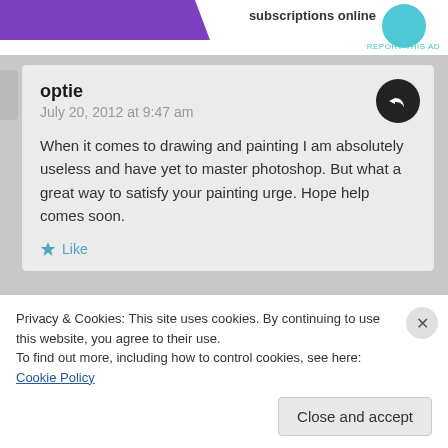[Figure (screenshot): Top ad banner with purple graphic on left and teal circle on right, with 'subscriptions online' text and 'REPORT THIS AD' label]
optie
July 20, 2012 at 9:47 am

When it comes to drawing and painting I am absolutely useless and have yet to master photoshop. But what a great way to satisfy your painting urge. Hope help comes soon.

★ Like
[Figure (screenshot): Second comment with teal avatar circle and partially visible author name 'Piglet in Portugal']
Privacy & Cookies: This site uses cookies. By continuing to use this website, you agree to their use.
To find out more, including how to control cookies, see here: Cookie Policy

Close and accept